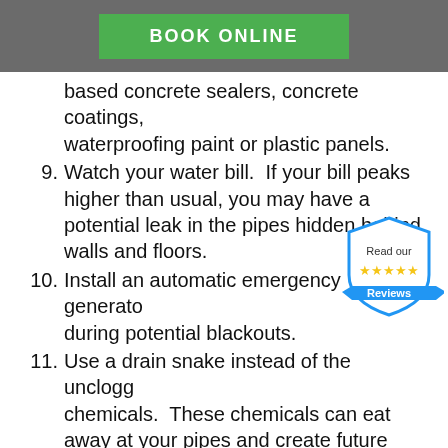BOOK ONLINE
based concrete sealers, concrete coatings, waterproofing paint or plastic panels.
9. Watch your water bill. If your bill peaks higher than usual, you may have a potential leak in the pipes hidden behind walls and floors.
10. Install an automatic emergency generator during potential blackouts.
11. Use a drain snake instead of the unclogging chemicals. These chemicals can eat away at your pipes and create future problems.
12. Check appliances regularly & upgrade washing machine hoses.
13. Be careful where you add trees & plants that may have invasive roots.
14. Add porous pavement around house to help absorb